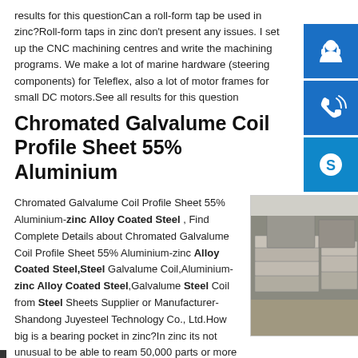results for this questionCan a roll-form tap be used in zinc?Roll-form taps in zinc don't present any issues. I set up the CNC machining centres and write the machining programs. We make a lot of marine hardware (steering components) for Teleflex, also a lot of motor frames for small DC motors.See all results for this question
Chromated Galvalume Coil Profile Sheet 55% Aluminium
Chromated Galvalume Coil Profile Sheet 55% Aluminium-zinc Alloy Coated Steel , Find Complete Details about Chromated Galvalume Coil Profile Sheet 55% Aluminium-zinc Alloy Coated Steel,Steel Galvalume Coil,Aluminium-zinc Alloy Coated Steel,Galvalume Steel Coil from Steel Sheets Supplier or Manufacturer-Shandong Juyesteel Technology Co., Ltd.How big is a bearing pocket in zinc?In zinc its not unusual to be able to ream 50,000 parts or more without having to adjust the cutting blade. One part needed a bearing pocket reamed
[Figure (photo): Photo of stacked metal/zinc alloy coil profile sheets or billets, grey coloured industrial material stacked outdoors]